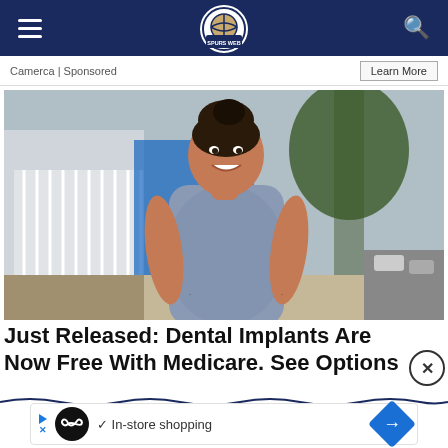The Spurs Web (navigation bar with hamburger menu, logo, and search icon)
Camerca | Sponsored
Learn More
[Figure (photo): A woman with dark hair in a bun, smiling, wearing a fitted grey short-sleeve dress, standing outdoors on a sidewalk with trees and a building in the background.]
Just Released: Dental Implants Are Now Free With Medicare. See Options
✓ In-store shopping